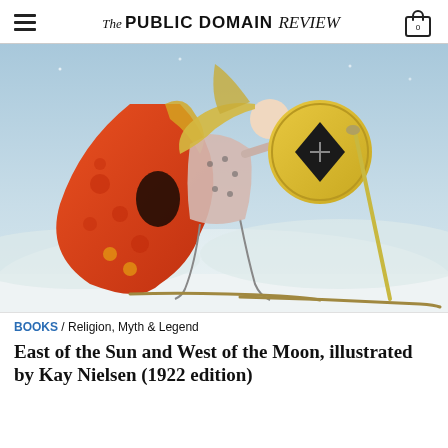The PUBLIC DOMAIN REVIEW
[Figure (illustration): Kay Nielsen illustration from East of the Sun and West of the Moon (1922). A warrior woman with long flowing blonde hair, wearing ornate patterned armor and carrying a large golden shield with a black diamond motif, strides forward on skis across a snowy landscape. She trails a dramatic red patterned cape. The sky is pale blue.]
BOOKS / Religion, Myth & Legend
East of the Sun and West of the Moon, illustrated by Kay Nielsen (1922 edition)